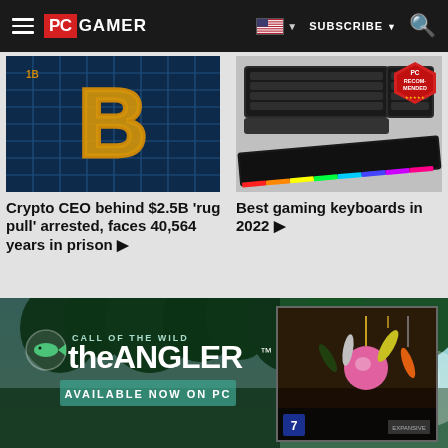PC GAMER | SUBSCRIBE
[Figure (screenshot): Bitcoin logo with gold B symbol on blue grid background - article thumbnail]
Crypto CEO behind $2.5B 'rug pull' arrested, faces 40,564 years in prison ▶
[Figure (photo): Gaming keyboards with RGB lighting on gray background, PC Recommended badge]
Best gaming keyboards in 2022 ▶
[Figure (illustration): Call of the Wild: the ANGLER game advertisement banner with fishing lures image and forest background]